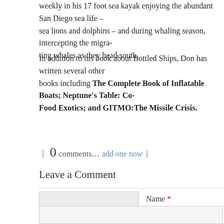weekly in his 17 foot sea kayak enjoying the abundant San Diego sea life – sea lions and dolphins – and during whaling season, intercepting the migrating whales as they head south.
In addition to his book about Bottled Ships, Don has written several other books including The Complete Book of Inflatable Boats; Neptune's Table: Co… Food Exotics; and GITMO:The Missile Crisis.
{ 0 comments… add one now }
Leave a Comment
Name *
E-mail *
Website